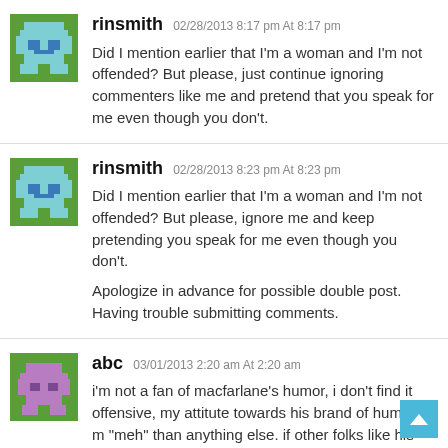rinsmith 02/28/2013 8:17 pm At 8:17 pm
Did I mention earlier that I'm a woman and I'm not offended? But please, just continue ignoring commenters like me and pretend that you speak for me even though you don't.
rinsmith 02/28/2013 8:23 pm At 8:23 pm
Did I mention earlier that I'm a woman and I'm not offended? But please, ignore me and keep pretending you speak for me even though you don't.

Apologize in advance for possible double post. Having trouble submitting comments.
abc 03/01/2013 2:20 am At 2:20 am
i'm not a fan of macfarlane's humor, i don't find it offensive, my attitute towards his brand of humor is m "meh" than anything else. if other folks like his humo